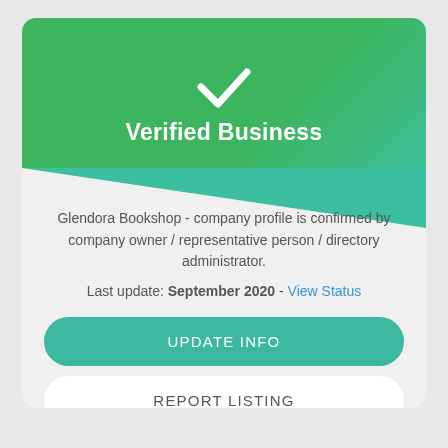Verified Business
Glendora Bookshop - company profile is confirmed by company owner / representative person / directory administrator.
Last update: September 2020 - View Status
UPDATE INFO
REPORT LISTING